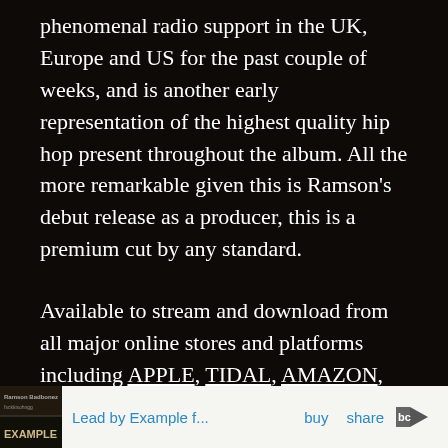phenomenal radio support in the UK, Europe and US for the past couple of weeks, and is another early representation of the highest quality hip hop present throughout the album. All the more remarkable given this is Ramson's debut release as a producer, this is a premium cut by any standard.
Available to stream and download from all major online stores and platforms including APPLE, TIDAL, AMAZON, BANDCAMP & SPOTIFY
[Figure (screenshot): Bandcamp player widget showing album art thumbnail with text 'Ramson Badbonez' and title, with 'Lead by Example f...', 'buy', 'share' links and Bandcamp logo]